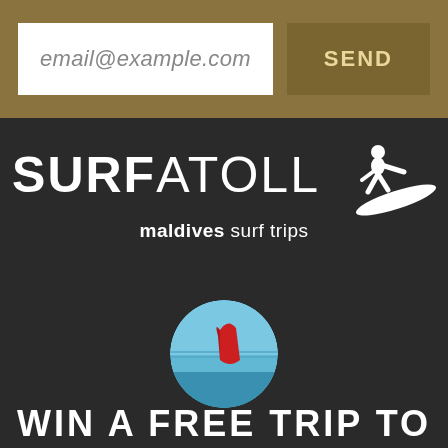email@example.com
SEND
[Figure (logo): SURFATOLL maldives surf trips logo with white surfer silhouette on surfboard]
[Figure (photo): Circular cropped photo showing surfboard fin in blue water]
WIN A FREE TRIP TO